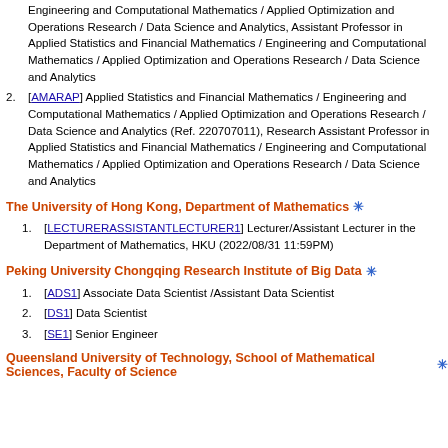[continuation] Engineering and Computational Mathematics / Applied Optimization and Operations Research / Data Science and Analytics, Assistant Professor in Applied Statistics and Financial Mathematics / Engineering and Computational Mathematics / Applied Optimization and Operations Research / Data Science and Analytics
[AMARAP] Applied Statistics and Financial Mathematics / Engineering and Computational Mathematics / Applied Optimization and Operations Research / Data Science and Analytics (Ref. 220707011), Research Assistant Professor in Applied Statistics and Financial Mathematics / Engineering and Computational Mathematics / Applied Optimization and Operations Research / Data Science and Analytics
The University of Hong Kong, Department of Mathematics ✳
[LECTURERASSISTANTLECTURER1] Lecturer/Assistant Lecturer in the Department of Mathematics, HKU (2022/08/31 11:59PM)
Peking University Chongqing Research Institute of Big Data ✳
[ADS1] Associate Data Scientist /Assistant Data Scientist
[DS1] Data Scientist
[SE1] Senior Engineer
Queensland University of Technology, School of Mathematical Sciences, Faculty of Science ✳